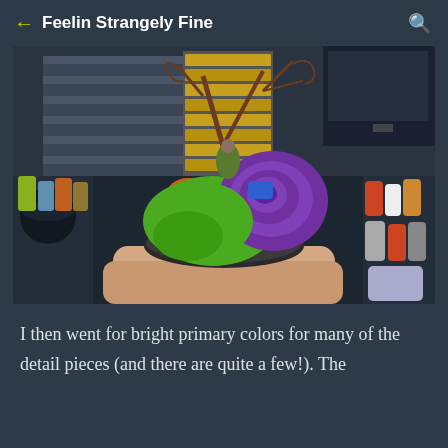Feelin Strangely Fine
[Figure (photo): A painted miniature figurine of a fantasy creature — a large green monster/snail with a purple shell spiral, tree-like antlers and branches, smaller creatures on top, on a diorama base with grass tufts. Held in a hand above a table covered with paint pots in a hobby workshop setting.]
I then went for bright primary colors for many of the detail pieces (and there are quite a few!). The